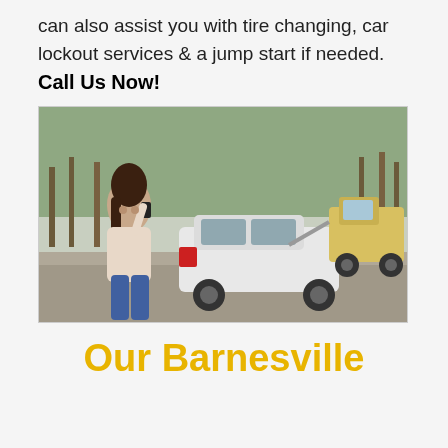can also assist you with tire changing, car lockout services & a jump start if needed.
Call Us Now!
[Figure (photo): A woman standing beside a white car on a roadside, talking on a phone. She appears distressed. In the background, a tow truck is loading or has loaded another vehicle on a road lined with bare trees.]
Our Barnesville